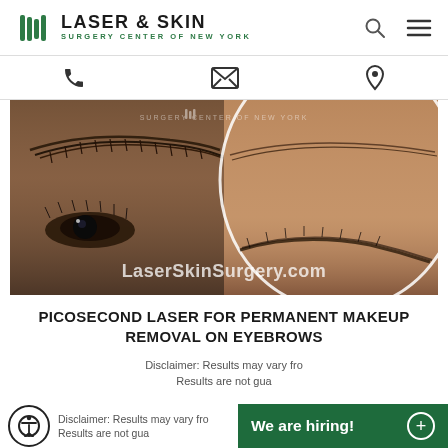LASER & SKIN SURGERY CENTER OF NEW YORK
[Figure (photo): Before and after comparison photo showing eyebrow area for picosecond laser permanent makeup removal. Left side shows eyebrow with permanent makeup, right side shows result after treatment. Watermark 'LaserSkinSurgery.com' and 'SURGERY CENTER OF NEW YORK' visible.]
PICOSECOND LASER FOR PERMANENT MAKEUP REMOVAL ON EYEBROWS
Disclaimer: Results may vary fro... Results are not gua...
We are hiring!